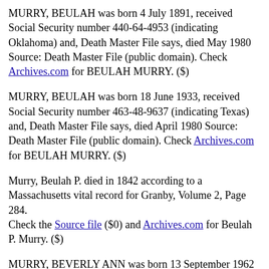MURRY, BEULAH was born 4 July 1891, received Social Security number 440-64-4953 (indicating Oklahoma) and, Death Master File says, died May 1980 Source: Death Master File (public domain). Check Archives.com for BEULAH MURRY. ($)
MURRY, BEULAH was born 18 June 1933, received Social Security number 463-48-9637 (indicating Texas) and, Death Master File says, died April 1980 Source: Death Master File (public domain). Check Archives.com for BEULAH MURRY. ($)
Murry, Beulah P. died in 1842 according to a Massachusetts vital record for Granby, Volume 2, Page 284. Check the Source file ($0) and Archives.com for Beulah P. Murry. ($)
MURRY, BEVERLY ANN was born 13 September 1962 in Missouri, U.S.A. Special thanks to Reclaim the Records. Please consider donating to them.